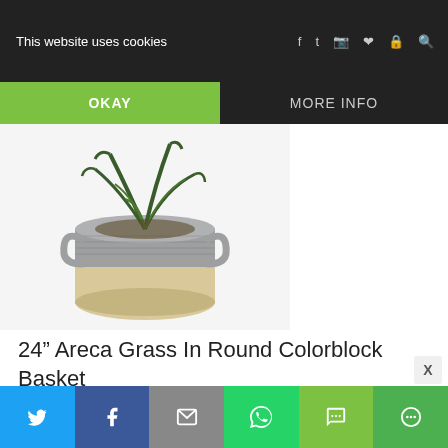This website uses cookies  |  OKAY  |  MORE INFO
[Figure (photo): A 24-inch artificial areca grass plant arranged in a round grey and tan colorblock woven basket with handles, photographed against a white background.]
24” Areca Grass In Round Colorblock Basket
24” Areca grass in round grey/tan basket Filler Material: Foam
– Maintenance Free –
For Home Or Office –
Twitter | Facebook | Email | WhatsApp | SMS | More